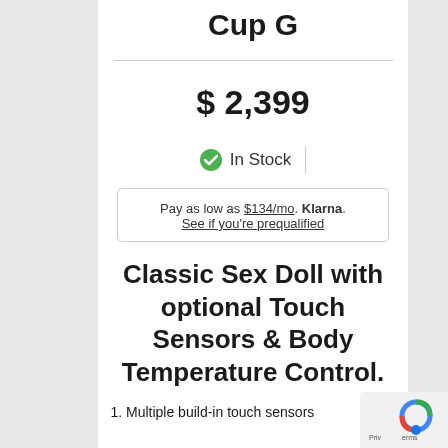Cup G
$ 2,399
In Stock
Pay as low as $134/mo. Klarna. See if you're prequalified
Classic Sex Doll with optional Touch Sensors & Body Temperature Control.
1. Multiple build-in touch sensors